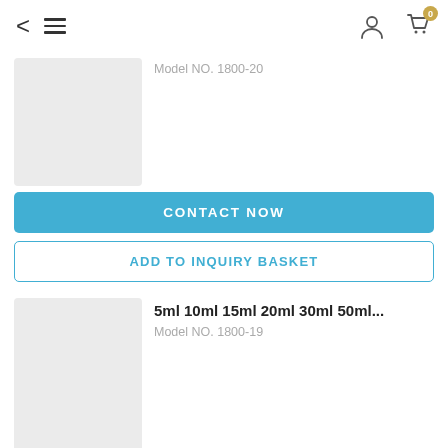Navigation header with back, menu, user, and cart icons
Model NO. 1800-20
[Figure (photo): Gray placeholder product image]
CONTACT NOW
ADD TO INQUIRY BASKET
5ml 10ml 15ml 20ml 30ml 50ml...
Model NO. 1800-19
[Figure (photo): Gray placeholder product image]
CONTACT NOW